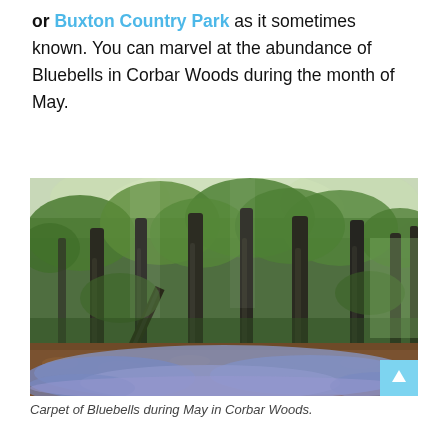or Buxton Country Park as it sometimes known. You can marvel at the abundance of Bluebells in Corbar Woods during the month of May.
[Figure (photo): Photograph of Corbar Woods showing tall trees with a carpet of bluebells covering the forest floor in May. The scene has a green canopy above and blue-purple bluebell flowers below.]
Carpet of Bluebells during May in Corbar Woods.